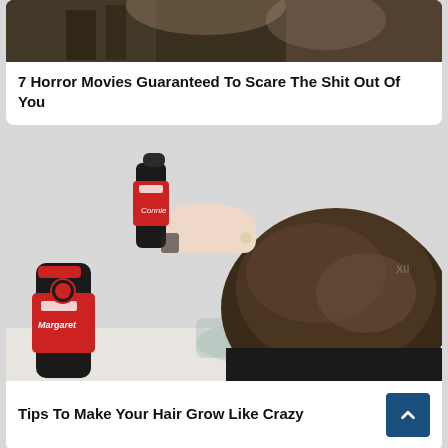[Figure (photo): Top portion of a horror-themed image showing a person with tattoos and a dark background with what appears to be military/weapon elements]
7 Horror Movies Guaranteed To Scare The Shit Out Of You
[Figure (photo): Person leaning over a glass bowl with a Coca-Cola bottle being poured on their hair. Two Coca-Cola bottles visible, one labeled 'Connie' and one labeled 'Margaret'.]
Tips To Make Your Hair Grow Like Crazy
[Figure (photo): Partial bottom image visible, appears to show food or similar warm-toned subject]